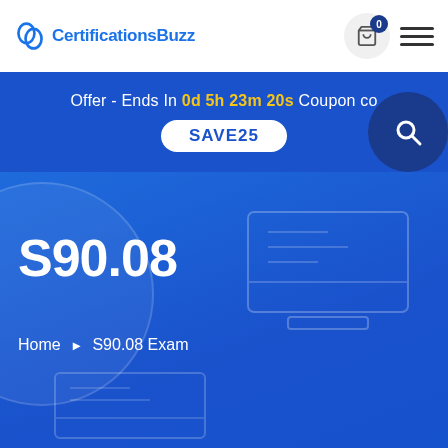CertificationsBuzz
Offer - Ends In 0d 5h 23m 20s Coupon code: SAVE25
S90.08
Home ► S90.08 Exam